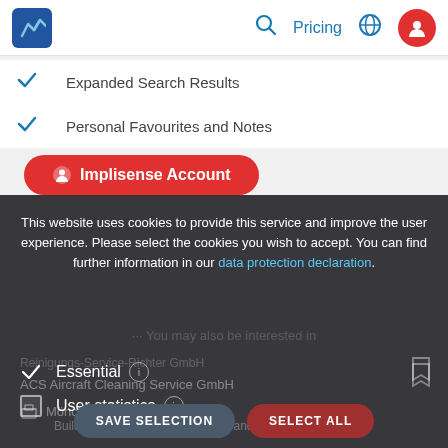Implisense | Pricing | (globe) | (user account)
✓ Expanded Search Results
✓ Personal Favourites and Notes
🔴 Implisense Account
This website uses cookies to provide this service and improve the user experience. Please select the cookies you wish to accept. You can find further information in our data protection declaration.
✓ Essential ℹ
☐ User statistics ℹ
☐ Third Party Tracking ℹ
ACS Aircraft Cleaning Service GmbH
Mönchengladbach
SAVE SELECTION | SELECT ALL